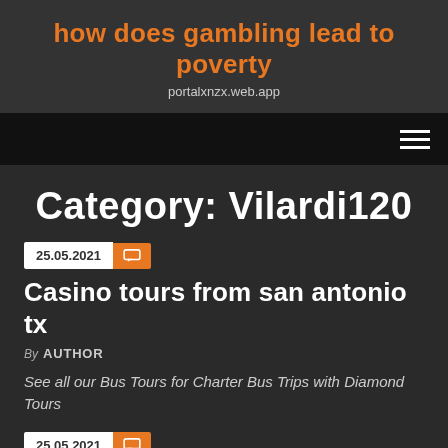how does gambling lead to poverty
portalxnzx.web.app
Category: Vilardi120
25.05.2021
Casino tours from san antonio tx
By AUTHOR
See all our Bus Tours for Charter Bus Trips with Diamond Tours
25.05.2021